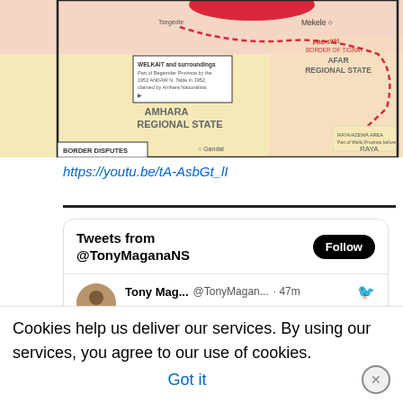[Figure (map): Map showing Ethiopian regional states including Amhara Regional State, Afar Regional State, and border disputes area with Tigray region highlighted. Red area and dashed borders visible. Labels include Welkait, Mekele, and other geographic markers.]
https://youtu.be/tA-AsbGt_lI
[Figure (screenshot): Twitter widget showing Tweets from @TonyMaganaNS with a Follow button. A tweet from Tony Mag... (@TonyMagan...) posted 47 minutes ago reads: Head doctors in Tigray describe the worsening medical catastrophe arising from the Ethiopian blockade in an emergency briefing today. #TigrayGenocide #TigrayFaces]
Cookies help us deliver our services. By using our services, you agree to our use of cookies. Got it